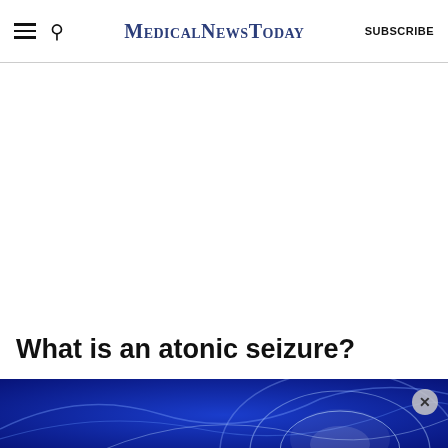MedicalNewsToday  SUBSCRIBE
What is an atonic seizure?
[Figure (illustration): Blue glowing brain/neural network abstract advertisement banner with close button]
ADVERTISEMENT